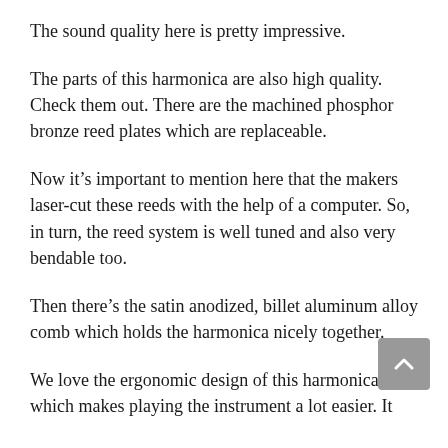The sound quality here is pretty impressive.
The parts of this harmonica are also high quality. Check them out. There are the machined phosphor bronze reed plates which are replaceable.
Now it’s important to mention here that the makers laser-cut these reeds with the help of a computer. So, in turn, the reed system is well tuned and also very bendable too.
Then there’s the satin anodized, billet aluminum alloy comb which holds the harmonica nicely together.
We love the ergonomic design of this harmonica which makes playing the instrument a lot easier. It